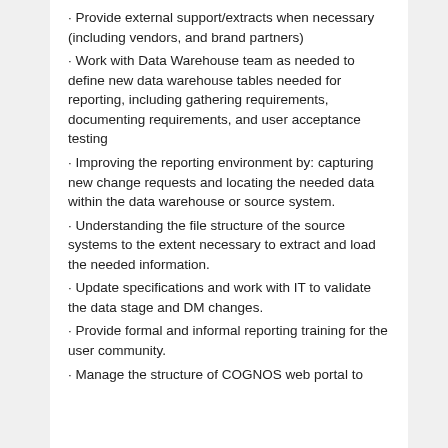Provide external support/extracts when necessary (including vendors, and brand partners)
Work with Data Warehouse team as needed to define new data warehouse tables needed for reporting, including gathering requirements, documenting requirements, and user acceptance testing
Improving the reporting environment by: capturing new change requests and locating the needed data within the data warehouse or source system.
Understanding the file structure of the source systems to the extent necessary to extract and load the needed information.
Update specifications and work with IT to validate the data stage and DM changes.
Provide formal and informal reporting training for the user community.
Manage the structure of COGNOS web portal to